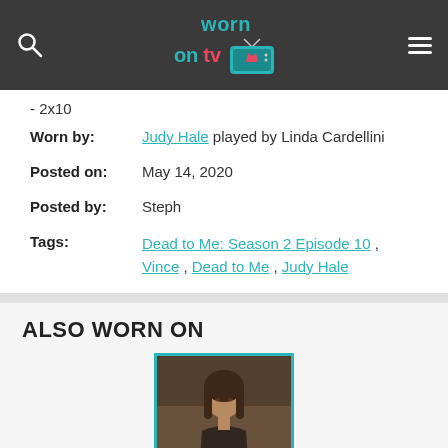[Figure (logo): Worn on TV logo with teal text and pink dress icon on dark TV shape, on dark grey header bar with search icon and hamburger menu]
- 2x10
Worn by: Judy Hale played by Linda Cardellini
Posted on: May 14, 2020
Posted by: Steph
Tags: Dead to Me: Season 2 Episode 10 , Vince , Dead to Me , Judy Hale
ALSO WORN ON
[Figure (photo): Photo of a dark-haired woman (Linda Cardellini as Judy Hale) with teal border frame]